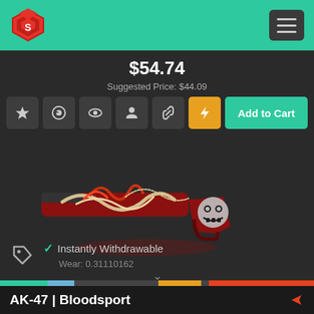Navigation header with logo and hamburger menu
$54.74
Suggested Price: $44.09
[Figure (illustration): AK-47 Bloodsport gun skin with red and gold design featuring skull motifs on a dark background]
Instantly Withdrawable
Wear: 0.31110162
AK-47 | Bloodsport